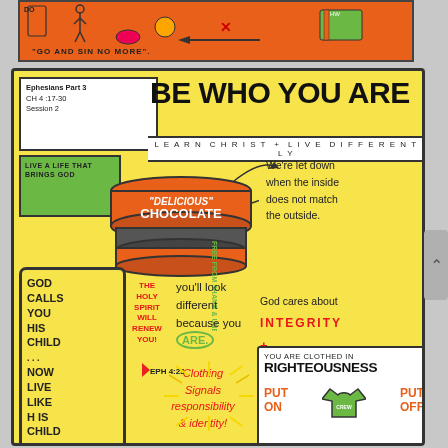[Figure (illustration): Top orange strip with 'GO AND SIN NO MORE' text and arrow pointing left, with small illustrated figures]
[Figure (infographic): Main yellow sketchnote card titled 'BE WHO YOU ARE' with Ephesians Part 3 Ch 4:17-30 Session 2. Contains illustrated chocolate box labeled 'DELICIOUS CHOCOLATE', text about integrity and authenticity, God calls you his child card, clothing metaphor, righteousness box with PUT ON / PUT OFF, and various handwritten notes about living differently.]
BE WHO YOU ARE
EPHESIANS PART 3 CH 4 :17-30 SESSION 2
LEARN CHRIST + LIVE DIFFERENTLY
LIVE A LIFE THAT BRINGS GOD
"DELICIOUS" CHOCOLATE
We're let down when the inside does not match the outside.
FREE FROM SHAME & UNBOUND BY SIN
God cares about INTEGRITY + AUTHENTICITY
GOD CALLS YOU HIS CHILD ... NOW LIVE LIKE HIS CHILD
THE HOLY SPIRIT WILL RENEW YOU!
EPH 4:23
you'll look different because you ARE.
YOU ARE CLOTHED IN RIGHTEOUSNESS
PUT ON   PUT OFF
Clothing signals responsibility & identity!